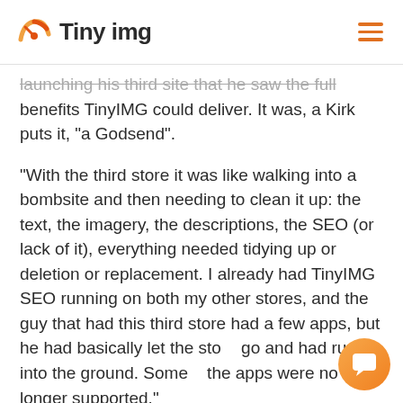Tiny img
launching his third site that he saw the full benefits TinyIMG could deliver. It was, a Kirk puts it, “a Godsend”.
“With the third store it was like walking into a bombsite and then needing to clean it up: the text, the imagery, the descriptions, the SEO (or lack of it), everything needed tidying up or deletion or replacement. I already had TinyIMG SEO running on both my other stores, and the guy that had this third store had a few apps, but he had basically let the store go and had run it into the ground. Some of the apps were no longer supported.”